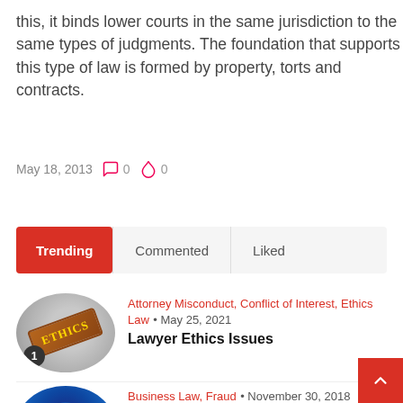this, it binds lower courts in the same jurisdiction to the same types of judgments. The foundation that supports this type of law is formed by property, torts and contracts.
May 18, 2013   0   0
Trending   Commented   Liked
[Figure (photo): Circular image of an ETHICS sign held by hands, with a badge showing number 1 at the bottom left.]
Attorney Misconduct, Conflict of Interest, Ethics Law • May 25, 2021
Lawyer Ethics Issues
[Figure (photo): Circular dark blue image representing fraud/cybercrime theme.]
Business Law, Fraud • November 30, 2018
White Collar Crime in